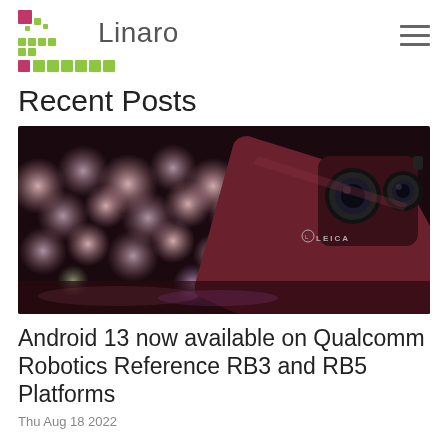Linaro
Recent Posts
[Figure (photo): Close-up photo of the back of a dark red/maroon smartphone (Huawei with Leica dual camera) resting on a keyboard with bokeh pink/purple lighting in the background.]
Android 13 now available on Qualcomm Robotics Reference RB3 and RB5 Platforms
Thu Aug 18 2022